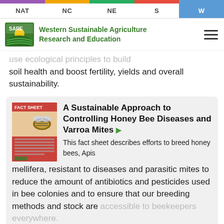NAT | NC | NE | S | W
[Figure (logo): SARE Western Sustainable Agriculture Research and Education logo with green field and sun icon]
use ecological principles to build soil health and boost fertility, yields and overall sustainability.
[Figure (screenshot): Fact sheet thumbnail image showing a honey bee]
A Sustainable Approach to Controlling Honey Bee Diseases and Varroa Mites
This fact sheet describes efforts to breed honey bees, Apis mellifera, resistant to diseases and parasitic mites to reduce the amount of antibiotics and pesticides used in bee colonies and to ensure that our breeding methods and stock are accessible to beekeepers everywhere.